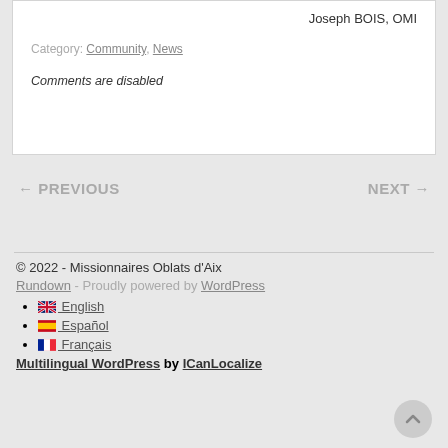Joseph BOIS, OMI
Category: Community, News
Comments are disabled
← PREVIOUS
NEXT →
© 2022 - Missionnaires Oblats d'Aix
Rundown - Proudly powered by WordPress
🇬🇧 English
🇪🇸 Español
🇫🇷 Français
Multilingual WordPress by ICanLocalize